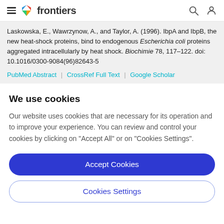frontiers
Laskowska, E., Wawrzynow, A., and Taylor, A. (1996). IbpA and IbpB, the new heat-shock proteins, bind to endogenous Escherichia coli proteins aggregated intracellularly by heat shock. Biochimie 78, 117–122. doi: 10.1016/0300-9084(96)82643-5
PubMed Abstract | CrossRef Full Text | Google Scholar
We use cookies
Our website uses cookies that are necessary for its operation and to improve your experience. You can review and control your cookies by clicking on "Accept All" or on "Cookies Settings".
Accept Cookies
Cookies Settings